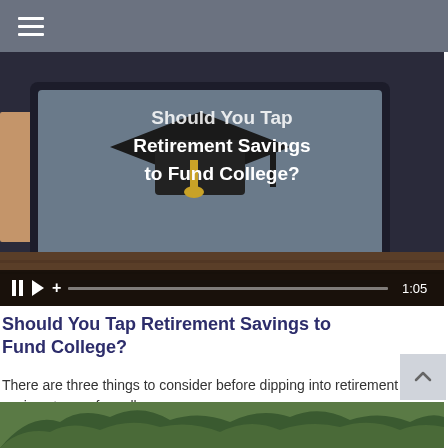[Figure (screenshot): Video thumbnail showing a graduation cap on a tablet screen with white bold text overlay: 'Should You Tap Retirement Savings to Fund College?' and video player controls at bottom showing timestamp 1:05]
Should You Tap Retirement Savings to Fund College?
There are three things to consider before dipping into retirement savings to pay for college.
[Figure (photo): Bottom portion of a nature photo showing trees with branches]